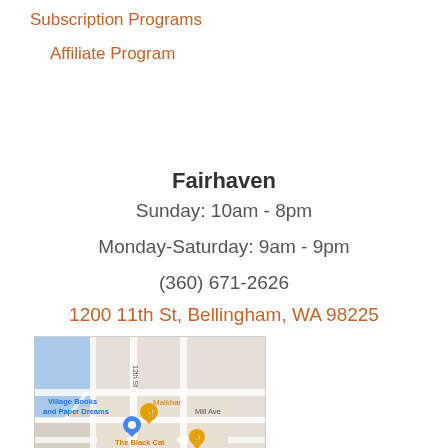Subscription Programs
Affiliate Program
Fairhaven
Sunday: 10am - 8pm
Monday-Saturday: 9am - 9pm
(360) 671-2626
1200 11th St, Bellingham, WA 98225
[Figure (map): Google Maps screenshot showing the area around 1200 11th St, Bellingham WA, with Village Books and Paper Dreams, Maikhar, The Black Cat, and Mill Ave labeled.]